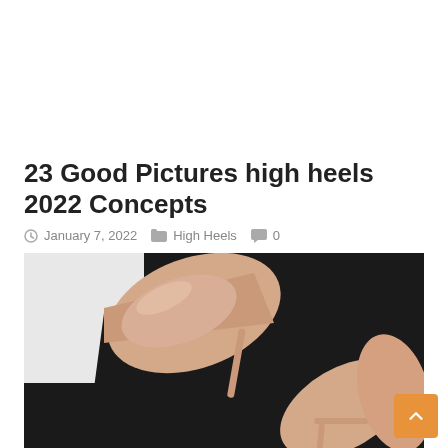23 Good Pictures high heels 2022 Concepts
January 7, 2022   High Heels   0
[Figure (photo): Close-up photograph of nude/blush colored high heel stiletto shoes with ankle strap, placed against a dark black background. The photo shows the pointed toe of the heels from an artistic angle.]